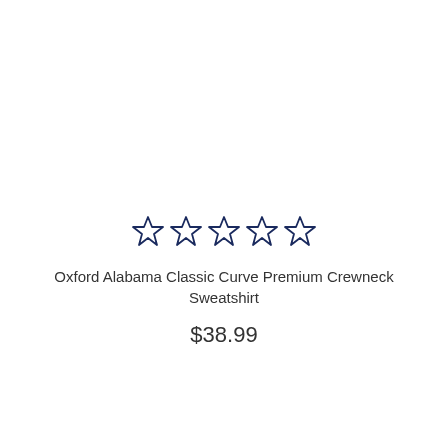[Figure (other): Five empty star rating icons displayed in a row, rendered in dark navy blue outline style]
Oxford Alabama Classic Curve Premium Crewneck Sweatshirt
$38.99